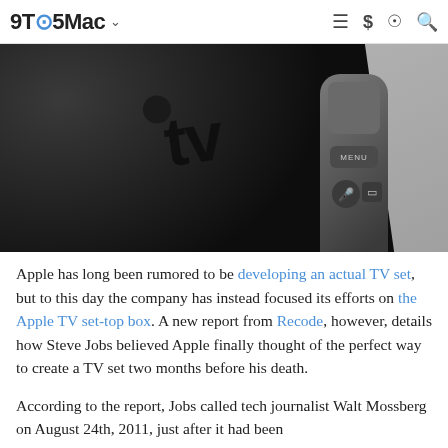9TO5Mac
[Figure (photo): Close-up photo of Apple TV set-top box (black rounded square device with 'tv' logo) and Apple TV remote control against a light gray background]
Apple has long been rumored to be developing an actual TV set, but to this day the company has instead focused its efforts on the Apple TV set-top box. A new report from Recode, however, details how Steve Jobs believed Apple finally thought of the perfect way to create a TV set two months before his death.
According to the report, Jobs called tech journalist Walt Mossberg on August 24th, 2011, just after it had been